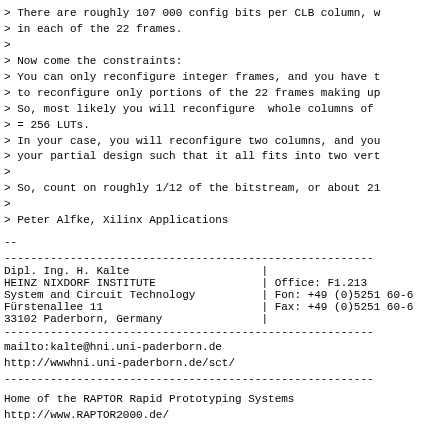> There are roughly 107 000 config bits per CLB column, w
> in each of the 22 frames.
>
> Now come the constraints:
> You can only reconfigure integer frames, and you have t
> to reconfigure only portions of the 22 frames making up
> So, most likely you will reconfigure  whole columns of
> = 256 LUTs.
> In your case, you will reconfigure two columns, and you
> your partial design such that it all fits into two vert
>
> So, count on roughly 1/12 of the bitstream, or about 21
>
> Peter Alfke, Xilinx Applications
--
Dipl. Ing. H. Kalte                    |
HEINZ NIXDORF INSTITUTE                | Office: F1.213
System and Circuit Technology          | Fon: +49 (0)5251 60-6
Fürstenallee 11                        | Fax: +49 (0)5251 60-6
33102 Paderborn, Germany               |
mailto:kalte@hni.uni-paderborn.de
http://wwwhni.uni-paderborn.de/sct/
Home of the RAPTOR Rapid Prototyping Systems
http://www.RAPTOR2000.de/